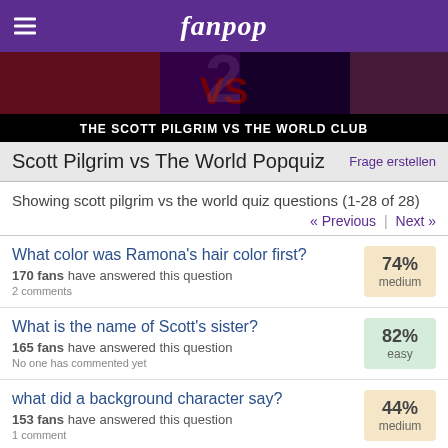fanpop
[Figure (photo): Scott Pilgrim vs The World movie banner with cast characters and VS text]
THE SCOTT PILGRIM VS THE WORLD CLUB
Scott Pilgrim vs The World Popquiz
Showing scott pilgrim vs the world quiz questions (1-28 of 28)
« Previous | Next »
What color was Ramona's hair color first?
170 fans have answered this question
2 comments
74% medium
What is the name of Scott's sister?
165 fans have answered this question
No one has commented yet
82% easy
what did a background character say?
153 fans have answered this question
1 comment
44% medium
Which of these characters did Scott NOT datum at some point in his life?
91%